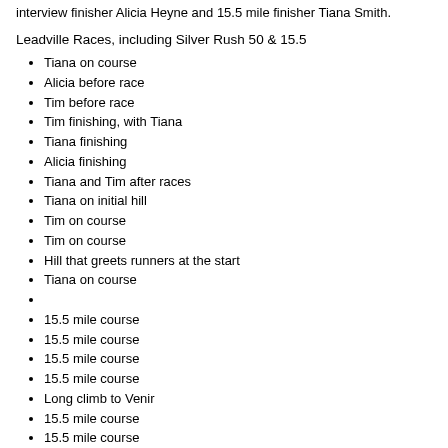interview finisher Alicia Heyne and 15.5 mile finisher Tiana Smith.
Leadville Races, including Silver Rush 50 & 15.5
Tiana on course
Alicia before race
Tim before race
Tim finishing, with Tiana
Tiana finishing
Alicia finishing
Tiana and Tim after races
Tiana on initial hill
Tim on course
Tim on course
Hill that greets runners at the start
Tiana on course
15.5 mile course
15.5 mile course
15.5 mile course
15.5 mile course
Long climb to Venir
15.5 mile course
15.5 mile course
50 mile course
50 mile course